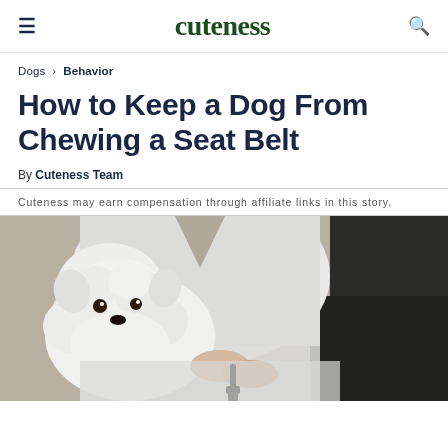cuteness
Dogs › Behavior
How to Keep a Dog From Chewing a Seat Belt
By Cuteness Team
Cuteness may earn compensation through affiliate links in this story.
[Figure (photo): A woman in a white dress sitting in a car holding a small fluffy white dog with a black leash/seat belt clip visible]